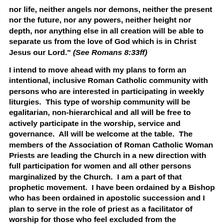nor life, neither angels nor demons, neither the present nor the future, nor any powers, neither height nor depth, nor anything else in all creation will be able to separate us from the love of God which is in Christ Jesus our Lord." (See Romans 8:33ff)
I intend to move ahead with my plans to form an intentional, inclusive Roman Catholic community with persons who are interested in participating in weekly liturgies.  This type of worship community will be egalitarian, non-hierarchical and all will be free to actively participate in the worship, service and governance.  All will be welcome at the table.  The members of the Association of Roman Catholic Woman Priests are leading the Church in a new direction with full participation for women and all other persons marginalized by the Church.  I am a part of that prophetic movement.  I have been ordained by a Bishop who has been ordained in apostolic succession and I plan to serve in the role of priest as a facilitator of worship for those who feel excluded from the traditional Roman Catholic Church.
http://ncronline.org/news/faith-parish/kansas-citys-first-woman-priest-has-been-excommunicated